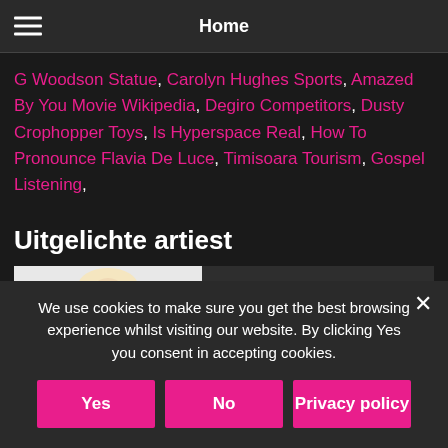Home
G Woodson Statue, Carolyn Hughes Sports, Amazed By You Movie Wikipedia, Degiro Competitors, Dusty Crophopper Toys, Is Hyperspace Real, How To Pronounce Flavia De Luce, Timisoara Tourism, Gospel Listening,
Uitgelichte artiest
DJ Kit-T
Business Party, EVENTS, Fair,
We use cookies to make sure you get the best browsing experience whilst visiting our website. By clicking Yes you consent in accepting cookies.